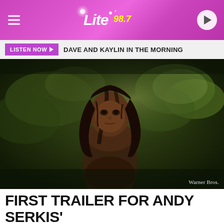[Figure (screenshot): Lite 98.7 radio station website header with pink/purple gradient background, hamburger menu icon on left, Lite 98.7 logo in center, play button circle on right]
LISTEN NOW ▶   DAVE AND KAYLIN IN THE MORNING
[Figure (photo): Movie still from Mowgli showing a young dark-haired boy in a jungle setting with lush green foliage. Warner Bros. watermark in bottom right corner.]
Warner Bros.
FIRST TRAILER FOR ANDY SERKIS' 'MOWGLI' IS THE DARKER SIDE OF